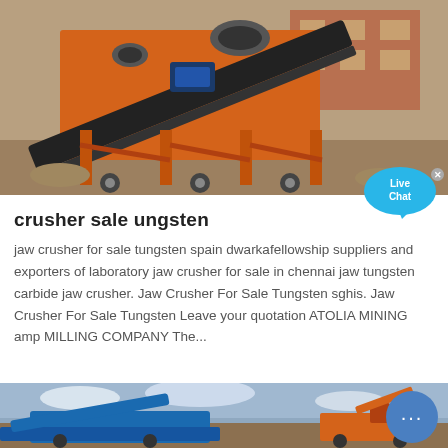[Figure (photo): Orange industrial jaw crusher / screening machine on a construction or mining site with conveyor belts and steel framework, brick building in background.]
crusher sale ungsten
jaw crusher for sale tungsten spain dwarkafellowship suppliers and exporters of laboratory jaw crusher for sale in chennai jaw tungsten carbide jaw crusher. Jaw Crusher For Sale Tungsten sghis. Jaw Crusher For Sale Tungsten Leave your quotation ATOLIA MINING amp MILLING COMPANY The...
[Figure (photo): Large blue and orange mining crusher machine on a dirt/rock site with cloudy sky, excavator visible in background.]